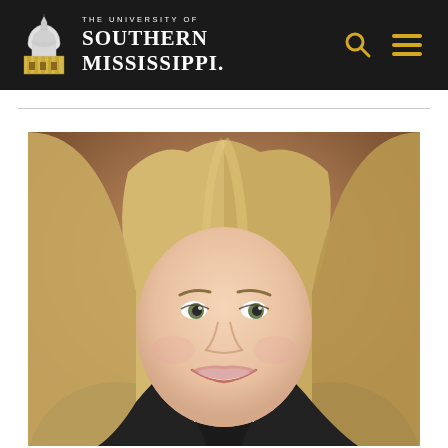The University of Southern Mississippi
[Figure (photo): Professional headshot of a young woman with long blonde hair, smiling, wearing a dark blazer, against a warm brown blurred background. University of Southern Mississippi faculty/staff profile photo.]